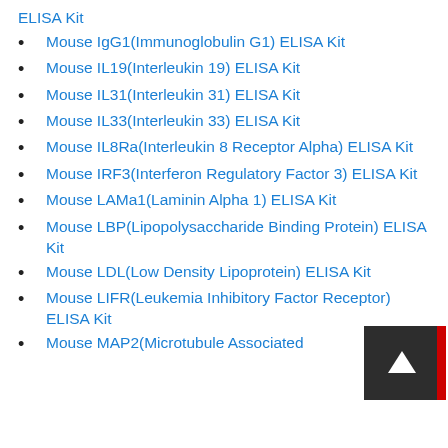ELISA Kit
Mouse IgG1(Immunoglobulin G1) ELISA Kit
Mouse IL19(Interleukin 19) ELISA Kit
Mouse IL31(Interleukin 31) ELISA Kit
Mouse IL33(Interleukin 33) ELISA Kit
Mouse IL8Ra(Interleukin 8 Receptor Alpha) ELISA Kit
Mouse IRF3(Interferon Regulatory Factor 3) ELISA Kit
Mouse LAMa1(Laminin Alpha 1) ELISA Kit
Mouse LBP(Lipopolysaccharide Binding Protein) ELISA Kit
Mouse LDL(Low Density Lipoprotein) ELISA Kit
Mouse LIFR(Leukemia Inhibitory Factor Receptor) ELISA Kit
Mouse MAP2(Microtubule Associated